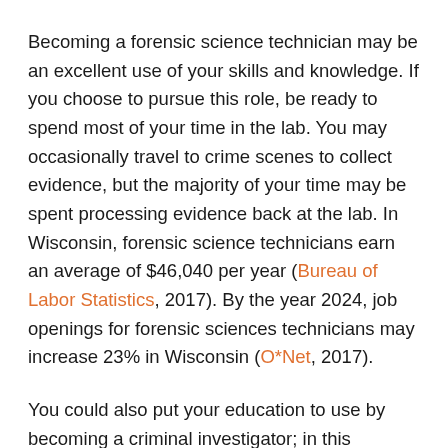Becoming a forensic science technician may be an excellent use of your skills and knowledge. If you choose to pursue this role, be ready to spend most of your time in the lab. You may occasionally travel to crime scenes to collect evidence, but the majority of your time may be spent processing evidence back at the lab. In Wisconsin, forensic science technicians earn an average of $46,040 per year (Bureau of Labor Statistics, 2017). By the year 2024, job openings for forensic sciences technicians may increase 23% in Wisconsin (O*Net, 2017).
You could also put your education to use by becoming a criminal investigator; in this